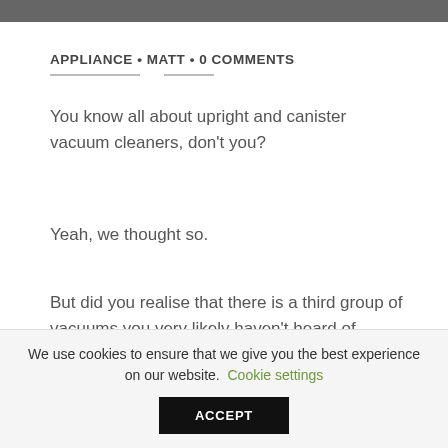APPLIANCE • MATT • 0 COMMENTS
You know all about upright and canister vacuum cleaners, don't you?
Yeah, we thought so.
But did you realise that there is a third group of vacuums you very likely haven't heard of before? There is!
We use cookies to ensure that we give you the best experience on our website. Cookie settings
ACCEPT